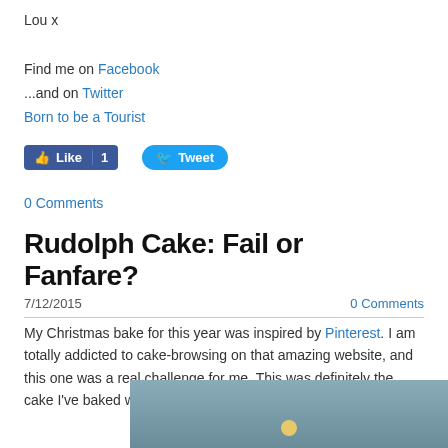Lou x
Find me on Facebook
...and on Twitter
Born to be a Tourist
[Figure (other): Facebook Like button showing count of 1 and Twitter Tweet button]
0 Comments
Rudolph Cake: Fail or Fanfare?
7/12/2015    0 Comments
My Christmas bake for this year was inspired by Pinterest. I am totally addicted to cake-browsing on that amazing website, and this one was a real challenge for me. This was definitely the cake I've baked which required the most skills.
[Figure (photo): Partial photo of a cake against a blue-grey background with a gold/yellow circular element visible]